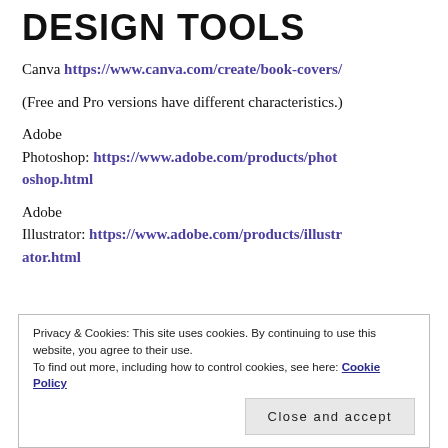DESIGN TOOLS
Canva https://www.canva.com/create/book-covers/
(Free and Pro versions have different characteristics.)
Adobe Photoshop: https://www.adobe.com/products/photoshop.html
Adobe Illustrator: https://www.adobe.com/products/illustrator.html
Privacy & Cookies: This site uses cookies. By continuing to use this website, you agree to their use. To find out more, including how to control cookies, see here: Cookie Policy
Close and accept